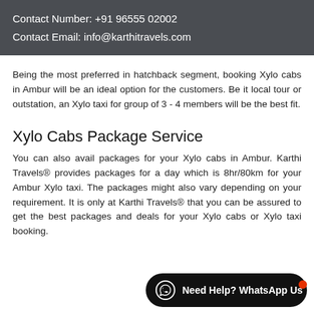Contact Number: +91 96555 02002
Contact Email: info@karthitravels.com
Being the most preferred in hatchback segment, booking Xylo cabs in Ambur will be an ideal option for the customers. Be it local tour or outstation, an Xylo taxi for group of 3 - 4 members will be the best fit.
Xylo Cabs Package Service
You can also avail packages for your Xylo cabs in Ambur. Karthi Travels® provides packages for a day which is 8hr/80km for your Ambur Xylo taxi. The packages might also vary depending on your requirement. It is only at Karthi Travels® that you can be assured to get the best packages and deals for your Xylo cabs or Xylo taxi booking.
[Figure (other): WhatsApp contact button with text 'Need Help? WhatsApp Us' on dark rounded pill background with WhatsApp icon and red notification dot]